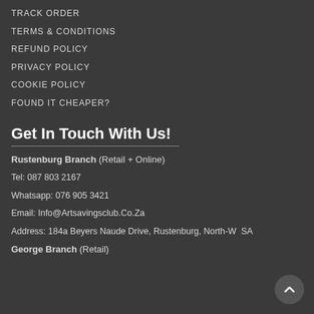TRACK ORDER
TERMS & CONDITIONS
REFUND POLICY
PRIVACY POLICY
COOKIE POLICY
FOUND IT CHEAPER?
Get In Touch With Us!
Rustenburg Branch (Retail + Online)
Tel: 087 803 2167
Whatsapp: 076 905 3421
Email: Info@Artsavingsclub.Co.Za
Address: 184a Beyers Naude Drive, Rustenburg, North-W SA
George Branch (Retail)